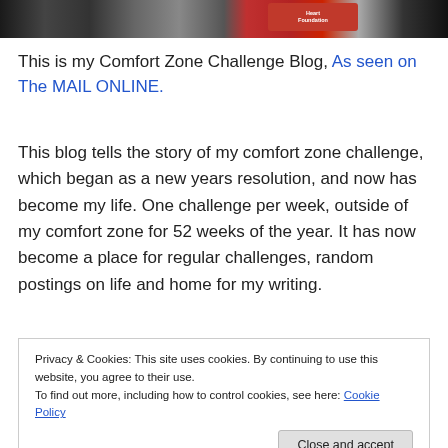[Figure (photo): Partial photo strip at the top of the page showing people wearing red shirts, one with 'Heart Foundation' text visible]
This is my Comfort Zone Challenge Blog, As seen on The MAIL ONLINE.
This blog tells the story of my comfort zone challenge, which began as a new years resolution, and now has become my life. One challenge per week, outside of my comfort zone for 52 weeks of the year. It has now become a place for regular challenges, random postings on life and home for my writing.
Privacy & Cookies: This site uses cookies. By continuing to use this website, you agree to their use.
To find out more, including how to control cookies, see here: Cookie Policy
[Close and accept]